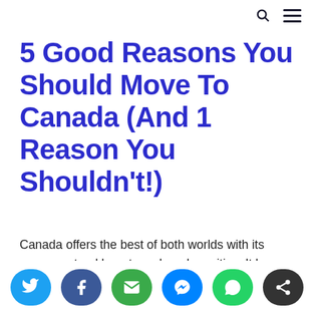5 Good Reasons You Should Move To Canada (And 1 Reason You Shouldn't!)
Canada offers the best of both worlds with its serene natural beauty and modern cities. It has always welcomed expats with lucrative career opportunities and a high quality of life. The country's large multicultural population also makes it easy
Social share bar: Twitter, Facebook, Email, Messenger, WhatsApp, Share